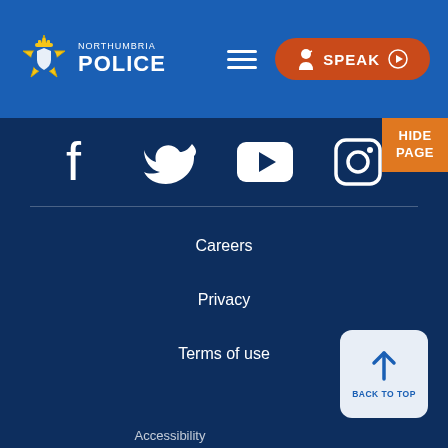[Figure (logo): Northumbria Police logo with badge and text]
[Figure (other): Hamburger menu icon (three horizontal white lines)]
[Figure (other): SPEAK button with accessibility icon and play button]
[Figure (other): HIDE PAGE button in orange]
[Figure (other): Social media icons: Facebook, Twitter, YouTube, Instagram]
Careers
Privacy
Terms of use
[Figure (other): Back to top button with upward arrow]
Accessibility